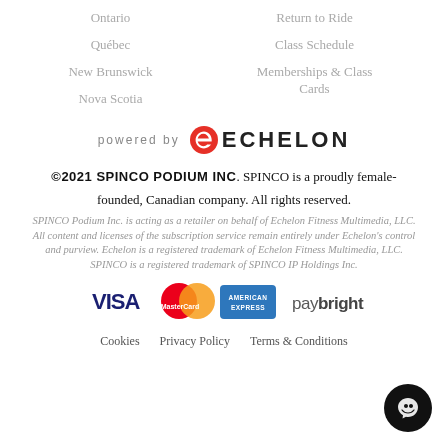Ontario
Québec
New Brunswick
Nova Scotia
Return to Ride
Class Schedule
Memberships & Class Cards
[Figure (logo): powered by ECHELON logo with stylized E icon]
©2021 SPINCO PODIUM INC. SPINCO is a proudly female-founded, Canadian company. All rights reserved.
SPINCO Podium Inc. is acting as a retailer on behalf of Echelon Fitness Multimedia, LLC. All content and licenses of the subscription service remain entirely under Echelon's control and purview. Echelon is a registered trademark of Echelon Fitness Multimedia, LLC. SPINCO is a registered trademark of SPINCO IP Holdings Inc.
[Figure (infographic): Payment method icons: VISA, MasterCard, American Express, PayBright]
Cookies   Privacy Policy   Terms & Conditions